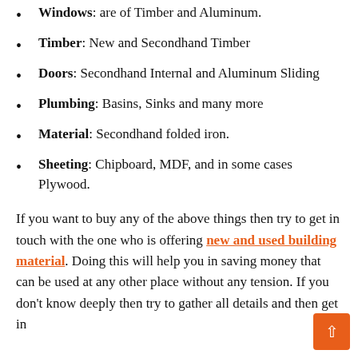Windows: are of Timber and Aluminum.
Timber: New and Secondhand Timber
Doors: Secondhand Internal and Aluminum Sliding
Plumbing: Basins, Sinks and many more
Material: Secondhand folded iron.
Sheeting: Chipboard, MDF, and in some cases Plywood.
If you want to buy any of the above things then try to get in touch with the one who is offering new and used building material. Doing this will help you in saving money that can be used at any other place without any tension. If you don’t know deeply then try to gather all details and then get in